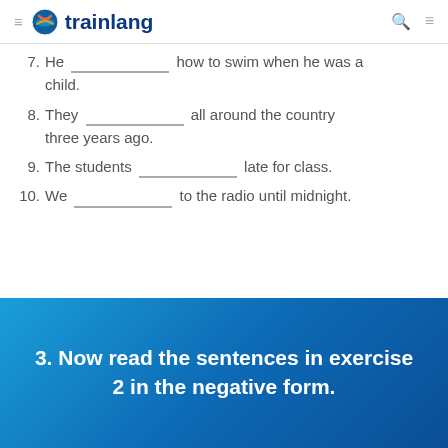trainlang
7. He ________ how to swim when he was a child.
8. They ________ all around the country three years ago.
9. The students ________ late for class.
10. We ________ to the radio until midnight.
3. Now read the sentences in exercise 2 in the negative form.